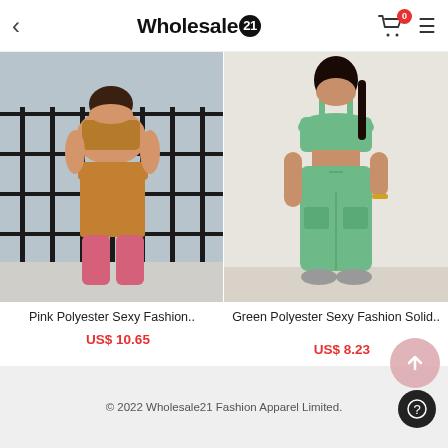< Wholesale21 [cart:0] ☰
[Figure (photo): Woman wearing orange/brown crop top and wide-leg pants with pink lower portion, standing near metal railing]
[Figure (photo): Woman wearing green two-piece set with crop top and cargo jogger pants]
Pink Polyester Sexy Fashion..
US$ 10.65
Green Polyester Sexy Fashion Solid..
US$ 8.23
© 2022 Wholesale21 Fashion Apparel Limited.